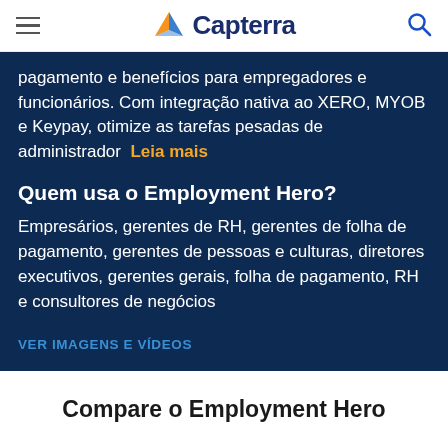Capterra
pagamento e benefícios para empregadores e funcionários. Com integração nativa ao XERO, MYOB e Keypay, otimize as tarefas pesadas de administrador  Leia mais
Quem usa o Employment Hero?
Empresários, gerentes de RH, gerentes de folha de pagamento, gerentes de pessoas e culturas, diretores executivos, gerentes gerais, folha de pagamento, RH e consultores de negócios
VER IMAGENS E VÍDEOS
Compare o Employment Hero